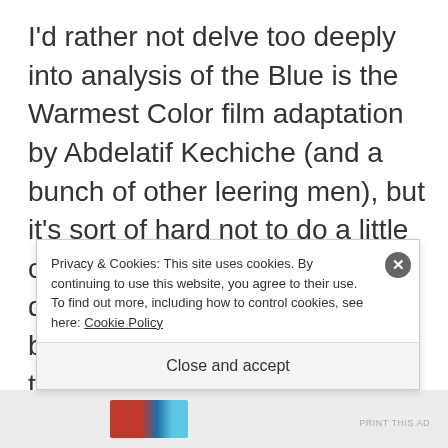I'd rather not delve too deeply into analysis of the Blue is the Warmest Color film adaptation by Abdelatif Kechiche (and a bunch of other leering men), but it's sort of hard not to do a little comparison, especially since I despise the film and like the book. Maroh's original story is ten-fold queerer and more subversive than Kechiche's film, part of the reason the book holds more weight. Kechiche not only couldn't identify with c
Privacy & Cookies: This site uses cookies. By continuing to use this website, you agree to their use.
To find out more, including how to control cookies, see here: Cookie Policy
Close and accept